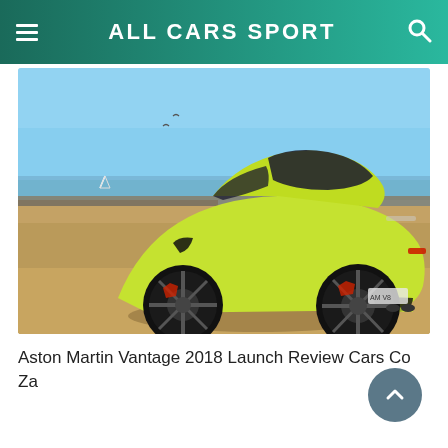ALL CARS SPORT
[Figure (photo): Yellow-green Aston Martin Vantage 2018 sports car photographed from the rear three-quarter angle on a sandy/gravelly coastal area with blue sky and ocean in the background.]
Aston Martin Vantage 2018 Launch Review Cars Co Za